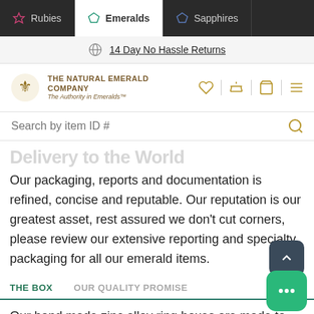Rubies | Emeralds | Sapphires
14 Day No Hassle Returns
[Figure (logo): The Natural Emerald Company logo with crest and tagline 'The Authority in Emeralds']
Search by item ID #
Delivery to the World
Our packaging, reports and documentation is refined, concise and reputable. Our reputation is our greatest asset, rest assured we don't cut corners, please review our extensive reporting and specialty packaging for all our emerald items.
THE BOX | OUR QUALITY PROMISE
Our hand made zinc alloy ring boxes are made to impress as much as our handcrafted emerald rings